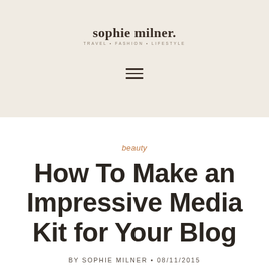sophie milner. TRAVEL • FASHION • LIFESTYLE
[Figure (other): Hamburger menu icon — three horizontal lines]
beauty
How To Make an Impressive Media Kit for Your Blog
BY SOPHIE MILNER • 08/11/2015